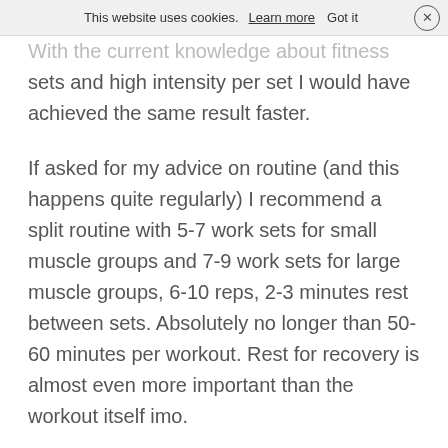This website uses cookies. Learn more  Got it  ×
With the current knowledge about fitness sets and high intensity per set I would have achieved the same result faster.
If asked for my advice on routine (and this happens quite regularly) I recommend a split routine with 5-7 work sets for small muscle groups and 7-9 work sets for large muscle groups, 6-10 reps, 2-3 minutes rest between sets. Absolutely no longer than 50-60 minutes per workout. Rest for recovery is almost even more important than the workout itself imo.
I have tried everything in the past 40 years to gain (natural) muscle mass, but after gaining 10-15 kg for the first 4-5 years, this was my maximum